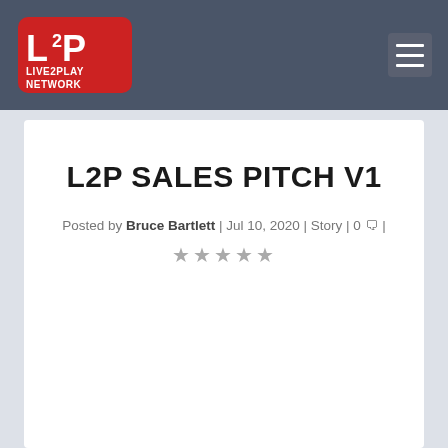L2P Live2Play Network — navigation header with logo and hamburger menu
L2P SALES PITCH V1
Posted by Bruce Bartlett | Jul 10, 2020 | Story | 0 💬 |
★★★★★